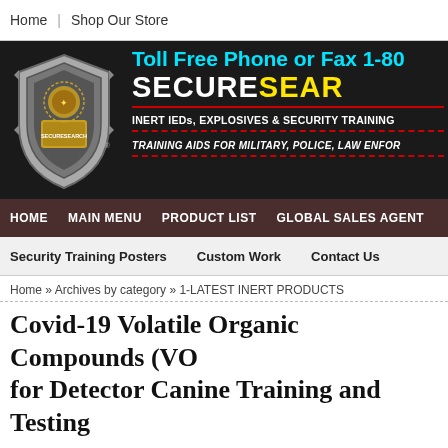Home | Shop Our Store
[Figure (logo): SecureSearch banner with shield logo, toll free phone/fax text, SECURESEARCH name in white and yellow, taglines about inert IEDs, explosives & security training aids for military, police, law enforcement]
HOME  MAIN MENU  PRODUCT LIST  GLOBAL SALES AGENT
Security Training Posters   Custom Work   Contact Us
Home » Archives by category » 1-LATEST INERT PRODUCTS
Covid-19 Volatile Organic Compounds (VOC) for Detector Canine Training and Testing
[Figure (photo): Two product images showing detector canine scent marker pens/tubes made in Canada]
COVID-19 Volatile Organic Compounds (VOC) Canine Training and Testing Securesearch of trace scent marker pens since 1996, and different scents for use by dog trainers and